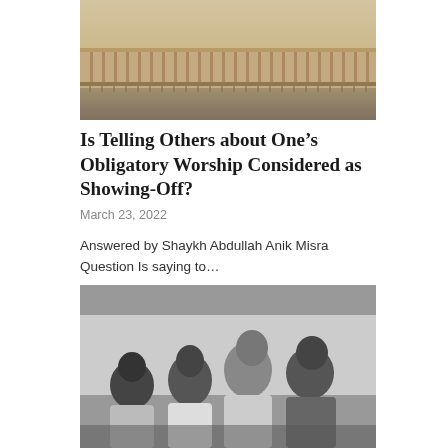[Figure (photo): Exterior view of a large classical building with colonnades and a fence in the foreground, warm golden light]
Is Telling Others about One’s Obligatory Worship Considered as Showing-Off?
March 23, 2022
Answered by Shaykh Abdullah Anik Misra Question Is saying to…
[Figure (photo): Black and white photo of several men praying in a row, viewed from the side, in a mosque or prayer hall]